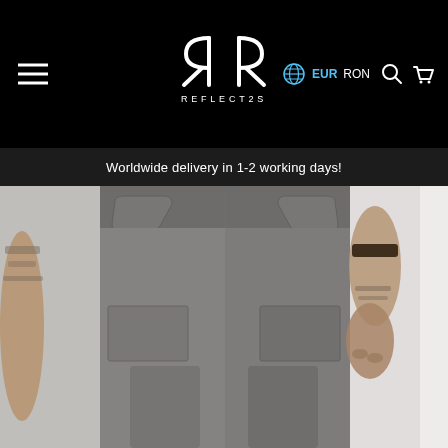REFLECT2S — EUR RON — Navigation header with hamburger menu, logo, currency selector, search and cart icons
Worldwide delivery in 1-2 working days!
[Figure (photo): Product photo showing a man wearing dark grey trousers/joggers, cropped to show torso and legs, with tattooed arms visible on the sides and a bracelet on the right wrist]